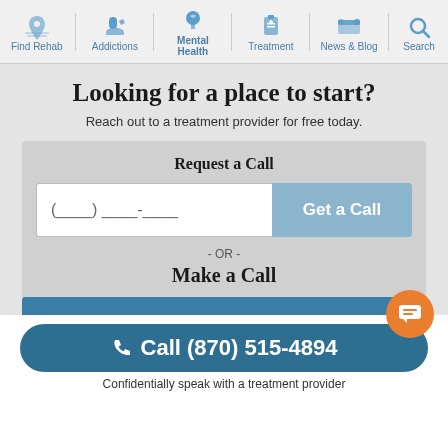Find Rehab | Addictions | Mental Health | Treatment | News & Blog | Search
Looking for a place to start?
Reach out to a treatment provider for free today.
Request a Call
(____) ____-____
Get a Call
- OR -
Make a Call
Call (870) 515-4894
Confidentially speak with a treatment provider